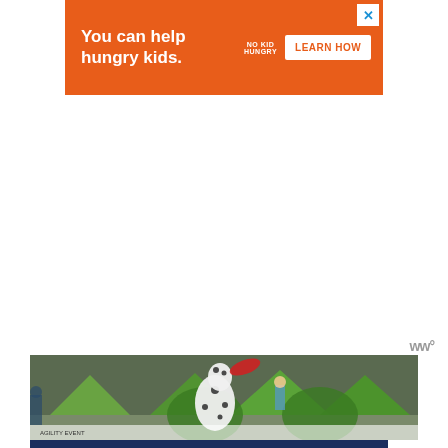[Figure (other): Orange advertisement banner: 'You can help hungry kids.' with No Kid Hungry logo and 'LEARN HOW' button, and X close button in top right]
www°
[Figure (photo): Photo of a Dalmatian dog leaping to catch a red frisbee at an outdoor agility/dog sport event with green tents in the background and people watching]
[Figure (other): Dark blue advertisement banner: 'Reach out to a friend about their mental health.' with 'SEIZE THE AWKWARD' yellow text and 'Learn more' button, with partner logos]
www°